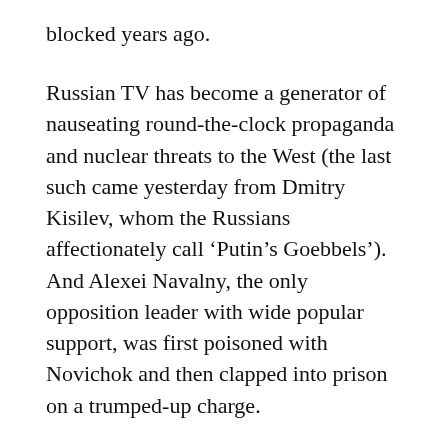blocked years ago.
Russian TV has become a generator of nauseating round-the-clock propaganda and nuclear threats to the West (the last such came yesterday from Dmitry Kisilev, whom the Russians affectionately call ‘Putin’s Goebbels’). And Alexei Navalny, the only opposition leader with wide popular support, was first poisoned with Novichok and then clapped into prison on a trumped-up charge.
Putin’s scorecard would be even more impressive had hundreds of opposition leaders not fled for their lives to the safety of Europe and America. But even had they all been